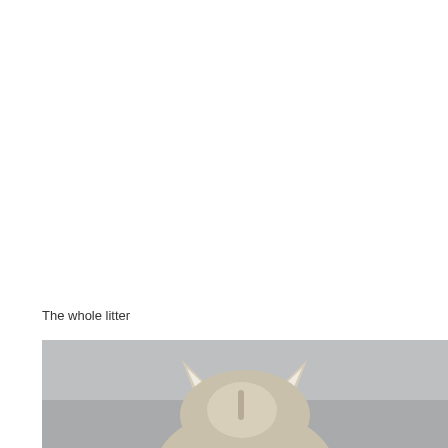The whole litter
[Figure (photo): Photograph of a cat (top of head with ears visible) against a gray background, cropped so only the top portion of the page is shown. The cat appears to be light/white and brown/tabby colored.]